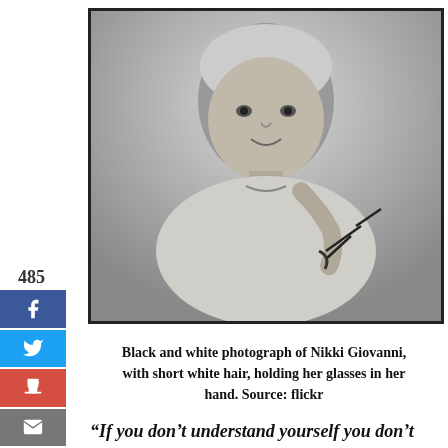[Figure (photo): Black and white photograph of Nikki Giovanni, with short white hair, holding her glasses in her hand, smiling at the camera.]
Black and white photograph of Nikki Giovanni, with short white hair, holding her glasses in her hand. Source: flickr
“If you don’t understand yourself you don’t